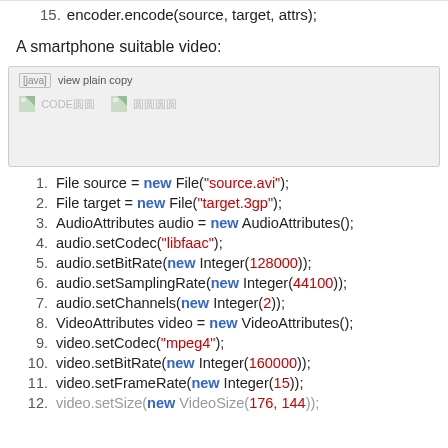15. encoder.encode(source, target, attrs);
A smartphone suitable video:
[Figure (screenshot): Code snippet box with [java] view plain copy label and two image placeholder icons with faded text 'CODE圆圆' and '圆圆圆圆']
1. File source = new File("source.avi");
2. File target = new File("target.3gp");
3. AudioAttributes audio = new AudioAttributes();
4. audio.setCodec("libfaac");
5. audio.setBitRate(new Integer(128000));
6. audio.setSamplingRate(new Integer(44100));
7. audio.setChannels(new Integer(2));
8. VideoAttributes video = new VideoAttributes();
9. video.setCodec("mpeg4");
10. video.setBitRate(new Integer(160000));
11. video.setFrameRate(new Integer(15));
12. video.setSize(new VideoSize(176, 144));